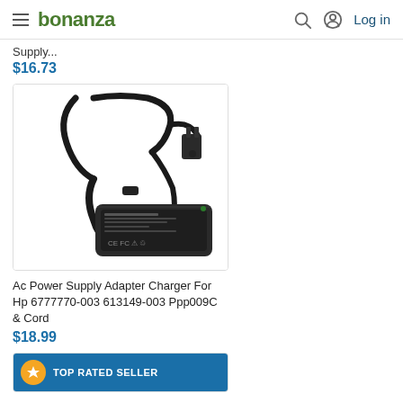bonanza | Log in
Supply...
$16.73
[Figure (photo): AC power adapter/charger with cables and a black rectangular brick showing CE, FCC certification marks]
Ac Power Supply Adapter Charger For Hp 6777770-003 613149-003 Ppp009C & Cord
$18.99
TOP RATED SELLER